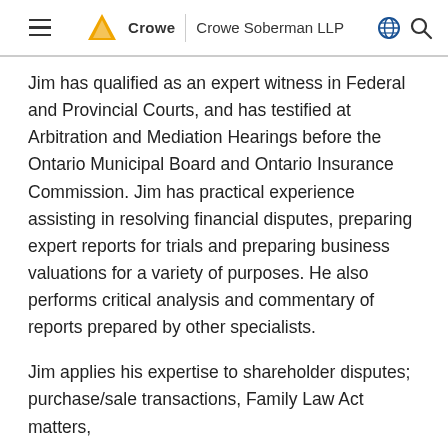≡  Crowe | Crowe Soberman LLP  🌐  🔍
Jim has qualified as an expert witness in Federal and Provincial Courts, and has testified at Arbitration and Mediation Hearings before the Ontario Municipal Board and Ontario Insurance Commission. Jim has practical experience assisting in resolving financial disputes, preparing expert reports for trials and preparing business valuations for a variety of purposes. He also performs critical analysis and commentary of reports prepared by other specialists.
Jim applies his expertise to shareholder disputes; purchase/sale transactions, Family Law Act matters,